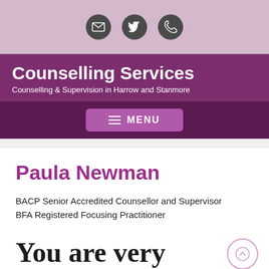[Figure (other): Top icon bar with email, Twitter, and phone icons on a pink/mauve background]
Counselling Services
Counselling & Supervision in Harrow and Stanmore
[Figure (other): Purple menu bar with MENU button]
Paula Newman
BACP Senior Accredited Counsellor and Supervisor
BFA Registered Focusing Practitioner
You are very
This site uses cookies to work better
I understand   Find out more